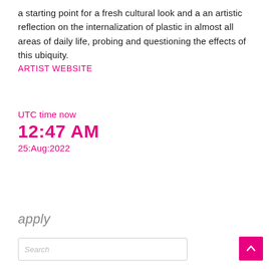a starting point for a fresh cultural look and a an artistic reflection on the internalization of plastic in almost all areas of daily life, probing and questioning the effects of this ubiquity.
ARTIST WEBSITE
UTC time now
12:47 AM
25:Aug:2022
apply
Search